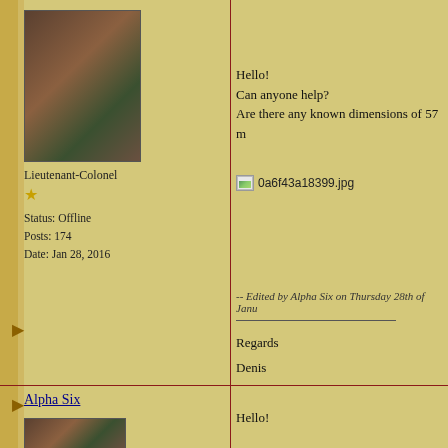[Figure (photo): Profile photo showing horse saddle and military equipment in brown tones]
Lieutenant-Colonel
★
Status: Offline
Posts: 174
Date: Jan 28, 2016
Hello!
Can anyone help?
Are there any known dimensions of 57 m
[Figure (photo): Broken image placeholder: 0a6f43a18399.jpg]
-- Edited by Alpha Six on Thursday 28th of Janu
Regards
Denis
Alpha Six
[Figure (photo): Same profile photo partially visible at bottom]
Hello!